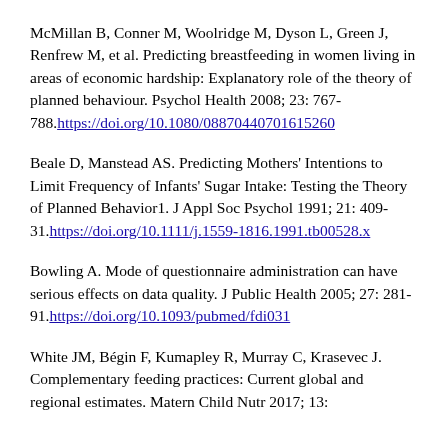McMillan B, Conner M, Woolridge M, Dyson L, Green J, Renfrew M, et al. Predicting breastfeeding in women living in areas of economic hardship: Explanatory role of the theory of planned behaviour. Psychol Health 2008; 23: 767-788. https://doi.org/10.1080/08870440701615260
Beale D, Manstead AS. Predicting Mothers' Intentions to Limit Frequency of Infants' Sugar Intake: Testing the Theory of Planned Behavior1. J Appl Soc Psychol 1991; 21: 409-31. https://doi.org/10.1111/j.1559-1816.1991.tb00528.x
Bowling A. Mode of questionnaire administration can have serious effects on data quality. J Public Health 2005; 27: 281-91. https://doi.org/10.1093/pubmed/fdi031
White JM, Bégin F, Kumapley R, Murray C, Krasevec J. Complementary feeding practices: Current global and regional estimates. Matern Child Nutr 2017; 13: